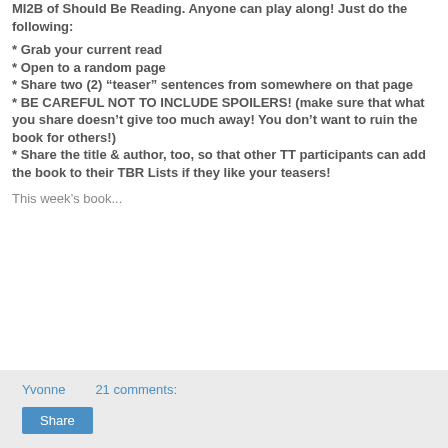MI2B of Should Be Reading. Anyone can play along! Just do the following:
* Grab your current read
* Open to a random page
* Share two (2) “teaser” sentences from somewhere on that page
* BE CAREFUL NOT TO INCLUDE SPOILERS! (make sure that what you share doesn’t give too much away! You don’t want to ruin the book for others!)
* Share the title & author, too, so that other TT participants can add the book to their TBR Lists if they like your teasers!
This week’s book...
Yvonne
21 comments:
Share